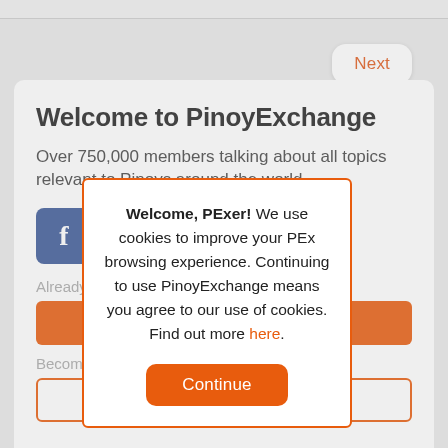[Figure (screenshot): Top gray bar with 'Next' button in orange on white rounded rectangle, top right corner]
Welcome to PinoyExchange
Over 750,000 members talking about all topics relevant to Pinoys around the world.
[Figure (screenshot): Facebook login button (blue square with white f), orange bar, outline bar, 'Already a member' and 'Become a' texts partially visible behind modal]
Welcome, PExer! We use cookies to improve your PEx browsing experience. Continuing to use PinoyExchange means you agree to our use of cookies. Find out more here.
[Figure (screenshot): Orange 'Continue' button inside cookie consent modal dialog]